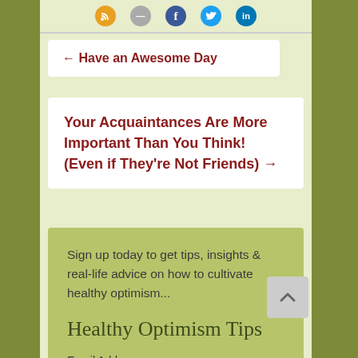[Figure (infographic): Social media icon buttons: RSS (orange), email/dash (gray), Facebook (blue), Twitter (blue), LinkedIn (blue)]
← Have an Awesome Day
Your Acquaintances Are More Important Than You Think! (Even if They're Not Friends) →
Sign up today to get tips, insights & real-life advice on how to cultivate healthy optimism...
Healthy Optimism Tips
Email Address